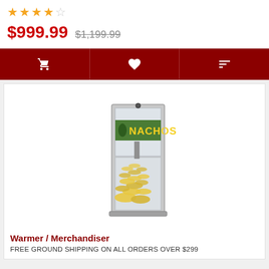★★★★☆
$999.99  $1,199.99
[Figure (screenshot): Dark red action bar with three icon buttons: shopping cart, heart/wishlist, and compare/sliders icons]
[Figure (photo): Nachos warmer/merchandiser machine - a glass-sided display case with metal frame, filled with tortilla chips, and a 'NACHOS' sign on green background at the top]
Warmer / Merchandiser
FREE GROUND SHIPPING ON ALL ORDERS OVER $299